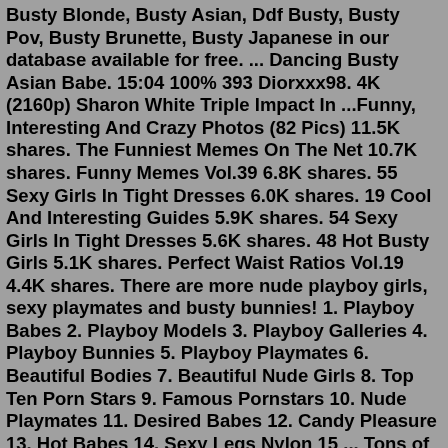Busty Blonde, Busty Asian, Ddf Busty, Busty Pov, Busty Brunette, Busty Japanese in our database available for free. ... Dancing Busty Asian Babe. 15:04 100% 393 Diorxxx98. 4K (2160p) Sharon White Triple Impact In ...Funny, Interesting And Crazy Photos (82 Pics) 11.5K shares. The Funniest Memes On The Net 10.7K shares. Funny Memes Vol.39 6.8K shares. 55 Sexy Girls In Tight Dresses 6.0K shares. 19 Cool And Interesting Guides 5.9K shares. 54 Sexy Girls In Tight Dresses 5.6K shares. 48 Hot Busty Girls 5.1K shares. Perfect Waist Ratios Vol.19 4.4K shares. There are more nude playboy girls, sexy playmates and busty bunnies! 1. Playboy Babes 2. Playboy Models 3. Playboy Galleries 4. Playboy Bunnies 5. Playboy Playmates 6. Beautiful Bodies 7. Beautiful Nude Girls 8. Top Ten Porn Stars 9. Famous Pornstars 10. Nude Playmates 11. Desired Babes 12. Candy Pleasure 13. Hot Babes 14. Sexy Legs Nylon 15 ... Tons of free Busty Babes porn videos and XXX movies are waiting for you on Redtube. Find the best Busty Babes videos right here and discover why our